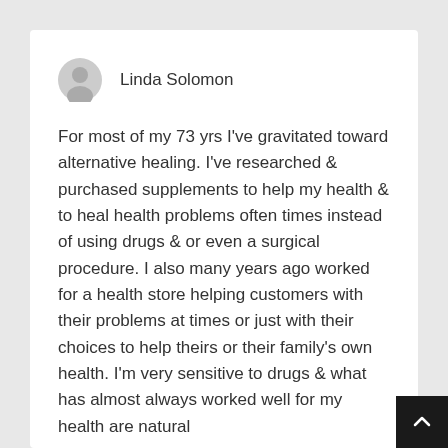Linda Solomon
For most of my 73 yrs I've gravitated toward alternative healing. I've researched & purchased supplements to help my health & to heal health problems often times instead of using drugs & or even a surgical procedure. I also many years ago worked for a health store helping customers with their problems at times or just with their choices to help theirs or their family's own health. I'm very sensitive to drugs & what has almost always worked well for my health are natural